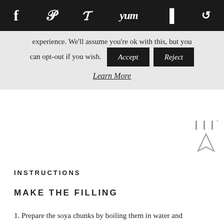Social sharing bar with icons: f (Facebook), P (Pinterest), Twitter bird, Yum, Flipboard, circle-arrow
experience. We'll assume you're ok with this, but you can opt-out if you wish. [Accept] [Reject]
Learn More
[Figure (other): Navigation/temperature app icon with bar symbols and upward arrow]
INSTRUCTIONS
MAKE THE FILLING
1. Prepare the soya chunks by boiling them in water and